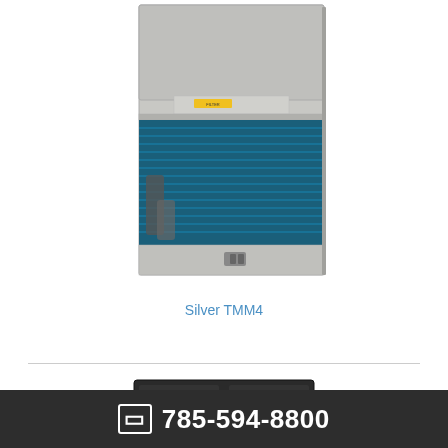[Figure (photo): Photo of Silver TMM4 HVAC air handler unit, gray metal cabinet open showing blue evaporator coil fins inside, filter label visible on front panel]
Silver TMM4
[Figure (photo): Photo of a black HVAC unit, partially visible at bottom of page]
785-594-8800